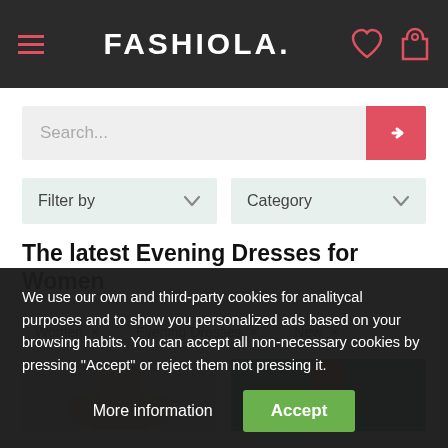FASHIOLA.
Search...
Filter by
Category
The latest Evening Dresses for Women
Women ×
Evening Dresses ×
New ×
[Figure (photo): Product photos of evening dresses — left: beige/gold sequin dress on model, right: woman with red hair on teal background]
We use our own and third-party cookies for analitycal purposes and to show you personalized ads based on your browsing habits. You can accept all non-necessary cookies by pressing "Accept" or reject them not pressing it.
More information
Accept